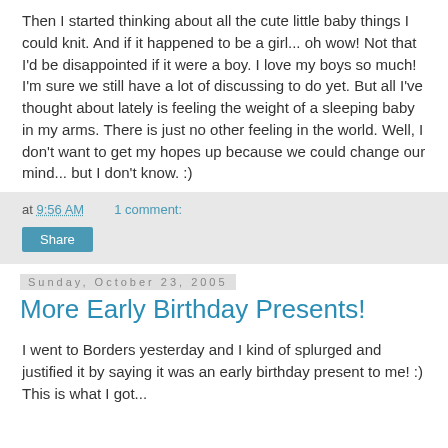Then I started thinking about all the cute little baby things I could knit. And if it happened to be a girl... oh wow! Not that I'd be disappointed if it were a boy. I love my boys so much! I'm sure we still have a lot of discussing to do yet. But all I've thought about lately is feeling the weight of a sleeping baby in my arms. There is just no other feeling in the world. Well, I don't want to get my hopes up because we could change our mind... but I don't know. :)
at 9:56 AM    1 comment:
Share
Sunday, October 23, 2005
More Early Birthday Presents!
I went to Borders yesterday and I kind of splurged and justified it by saying it was an early birthday present to me! :) This is what I got...